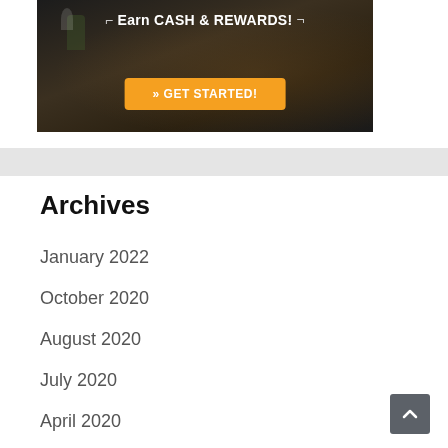[Figure (screenshot): Advertisement banner showing a person working on a laptop with text 'Earn CASH & REWARDS!' and an orange 'GET STARTED!' button]
January 2022
October 2020
August 2020
July 2020
April 2020